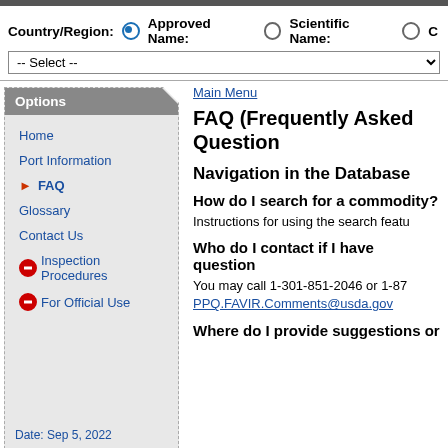Country/Region: (selected) Approved Name: Scientific Name:
-- Select --
Options
Home
Port Information
FAQ (active)
Glossary
Contact Us
Inspection Procedures
For Official Use
Date: Sep 5, 2022
Main Menu
FAQ (Frequently Asked Question
Navigation in the Database
How do I search for a commodity?
Instructions for using the search featu
Who do I contact if I have question
You may call 1-301-851-2046 or 1-87 PPQ.FAVIR.Comments@usda.gov
Where do I provide suggestions or